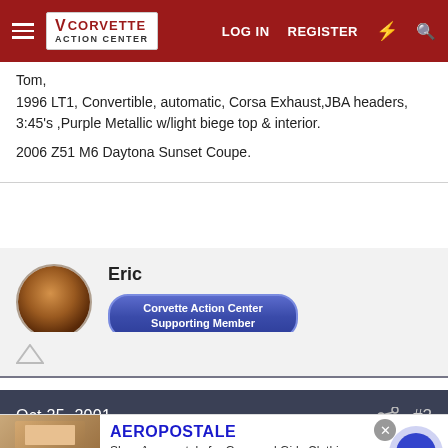Corvette Action Center — LOG IN  REGISTER
Tom,
1996 LT1, Convertible, automatic, Corsa Exhaust,JBA headers, 3:45's ,Purple Metallic w/light biege top & interior.

2006 Z51 M6 Daytona Sunset Coupe.
Oct 25, 2001   #2
Eric
Corvette Action Center Supporting Member
infolinks   uses cookies to help personalise content, tailor your
[Figure (screenshot): Advertisement for Aeropostale showing clothing images, brand name, tagline 'Shop Aeropostale for Guys and Girls Clothing', URL www.aeropostale.com, close button, and navigation arrow]